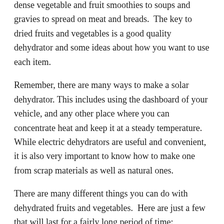dense vegetable and fruit smoothies to soups and gravies to spread on meat and breads.  The key to dried fruits and vegetables is a good quality dehydrator and some ideas about how you want to use each item.
Remember, there are many ways to make a solar dehydrator. This includes using the dashboard of your vehicle, and any other place where you can concentrate heat and keep it at a steady temperature.  While electric dehydrators are useful and convenient, it is also very important to know how to make one from scrap materials as well as natural ones.
There are many different things you can do with dehydrated fruits and vegetables.  Here are just a few that will last for a fairly long period of time:
Dry them out to the point where they will crumble,